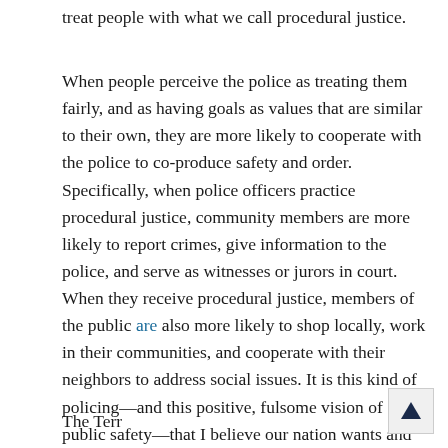treat people with what we call procedural justice.
When people perceive the police as treating them fairly, and as having goals as values that are similar to their own, they are more likely to cooperate with the police to co-produce safety and order. Specifically, when police officers practice procedural justice, community members are more likely to report crimes, give information to the police, and serve as witnesses or jurors in court. When they receive procedural justice, members of the public are also more likely to shop locally, work in their communities, and cooperate with their neighbors to address social issues. It is this kind of policing—and this positive, fulsome vision of public safety—that I believe our nation wants and needs.
The Terr...